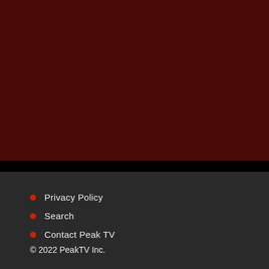[Figure (other): Dark red/maroon background section filling the upper portion of the page]
Privacy Policy
Search
Contact Peak TV
© 2022 PeakTV Inc.